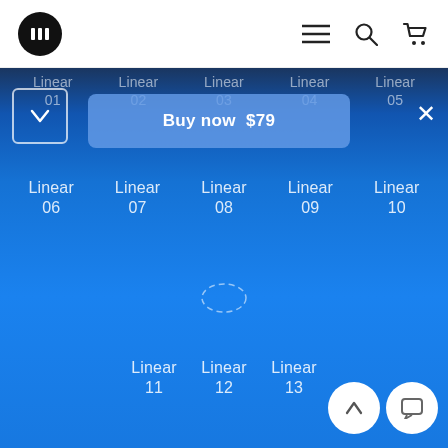Navigation bar with logo, menu, search, and cart icons
[Figure (screenshot): Blue product listing page showing Linear preset items 01-13 with a Buy now $79 banner, dropdown button, and close button. Items are arranged in a grid on a blue gradient background. A loading spinner is visible. Scroll-up and chat buttons appear at bottom right.]